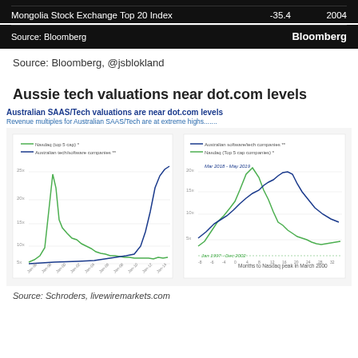| Index | Value | Year |
| --- | --- | --- |
| Mongolia Stock Exchange Top 20 Index | -35.4 | 2004 |
Source: Bloomberg
Bloomberg
Source: Bloomberg, @jsblokland
Aussie tech valuations near dot.com levels
[Figure (line-chart): Two side-by-side line charts showing revenue multiples for Australian SAAS/Tech companies compared to Nasdaq top 5. Left chart shows historical data from ~1996 to 2019 with green line (Nasdaq top 5 cap) peaking sharply around dot-com era ~2000 and blue line (Australian tech/software companies) rising sharply in recent years. Right chart shows months relative to Nasdaq peak in March 2000 with similar comparison lines. Period labeled Mar 2018 - May 2019 highlighted on right chart.]
Source: Schroders, livewiremarkets.com